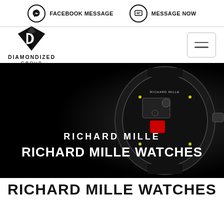FACEBOOK MESSAGE   MESSAGE NOW
[Figure (logo): Diamondized Group logo - black diamond shape with D letter and text DIAMONDIZED GROUP below]
[Figure (photo): Richard Mille luxury watch - dark carbon fiber case with complex skeleton dial, displayed on black background]
RICHARD MILLE
RICHARD MILLE WATCHES
RICHARD MILLE WATCHES